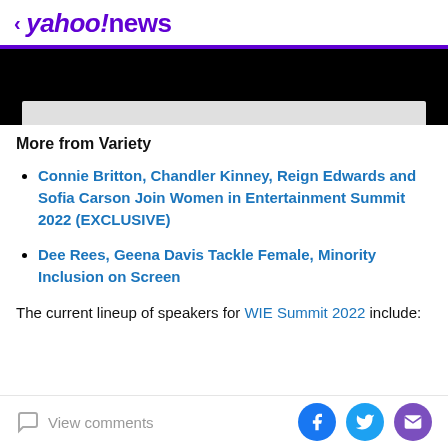< yahoo!news
[Figure (photo): Black area with partial image of a bowl/dish visible at bottom]
More from Variety
Connie Britton, Chandler Kinney, Reign Edwards and Sofia Carson Join Women in Entertainment Summit 2022 (EXCLUSIVE)
Dee Rees, Geena Davis Tackle Female, Minority Inclusion on Screen
The current lineup of speakers for WIE Summit 2022 include:
View comments | Facebook | Twitter | Email